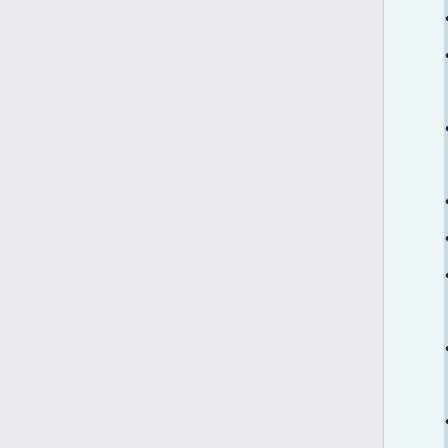2012
Mem Appli 2012
Mem Appli 2012
FOSI
Sumi
Mem Appli 2011
Boar Cour Elect
Mem Appli 2011
Goog Sumi